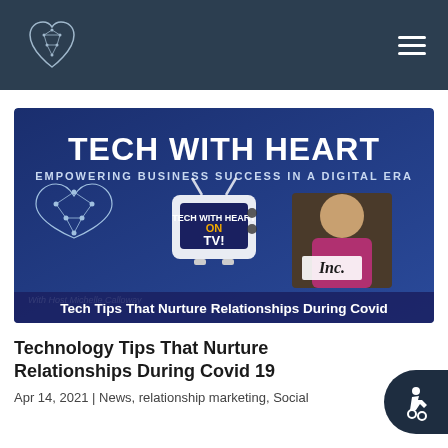Tech With Heart — site header with logo and navigation menu
[Figure (illustration): Tech With Heart banner image. Dark navy/blue background with large white bold text 'TECH WITH HEART', subtitle 'EMPOWERING BUSINESS SUCCESS IN A DIGITAL ERA'. Left side shows a heart outline with network/circuit nodes. Center shows a TV graphic with 'TECH WITH HEART ON TV!' in yellow/gold. Right side shows a photo of host Michelle Calloway with short blonde hair in a pink/magenta blazer, featuring an 'Inc.' logo badge. Bottom bar reads 'Tech Tips That Nurture Relationships During Covid'. Caption at bottom left: 'With Host Michelle Calloway'.]
Technology Tips That Nurture Relationships During Covid 19
Apr 14, 2021 | News, relationship marketing, Social